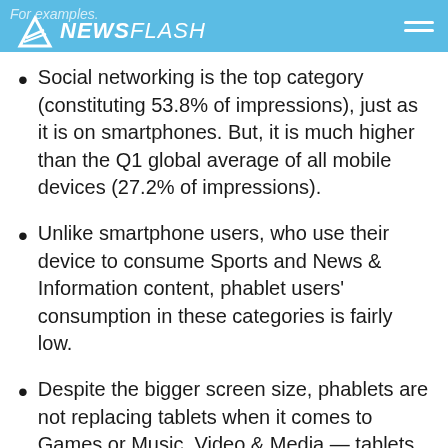For examples. NEWSFLASH
Social networking is the top category (constituting 53.8% of impressions), just as it is on smartphones. But, it is much higher than the Q1 global average of all mobile devices (27.2% of impressions).
Unlike smartphone users, who use their device to consume Sports and News & Information content, phablet users' consumption in these categories is fairly low.
Despite the bigger screen size, phablets are not replacing tablets when it comes to Games or Music, Video & Media — tablets